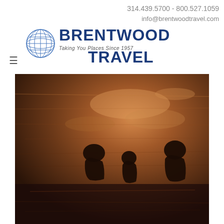314.439.5700 - 800.527.1059
info@brentwoodtravel.com
[Figure (logo): Brentwood Travel logo with globe icon and text 'Taking You Places Since 1957']
[Figure (photo): Three silhouetted people swimming in open water during golden hour/sunset, warm copper and brown tones reflecting on rippling water surface]